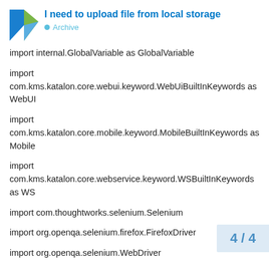I need to upload file from local storage
Archive
import internal.GlobalVariable as GlobalVariable
import com.kms.katalon.core.webui.keyword.WebUiBuiltInKeywords as WebUI
import com.kms.katalon.core.mobile.keyword.MobileBuiltInKeywords as Mobile
import com.kms.katalon.core.webservice.keyword.WSBuiltInKeywords as WS
import com.thoughtworks.selenium.Selenium
import org.openqa.selenium.firefox.FirefoxDriver
import org.openqa.selenium.WebDriver
import
4 / 4